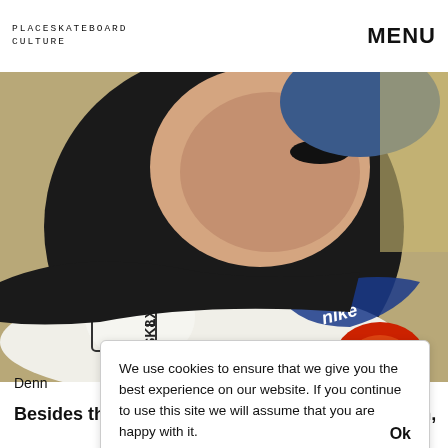PLACESKATEBOARD CULTURE  MENU
[Figure (photo): A skateboarder holding a white skateboard with Nike and GLSK8X logos visible, wearing a dark sweater and blue beanie hat]
Denny
Besides that, we get Ryan Kammer, Benny Pham,
We use cookies to ensure that we give you the best experience on our website. If you continue to use this site we will assume that you are happy with it.  Ok